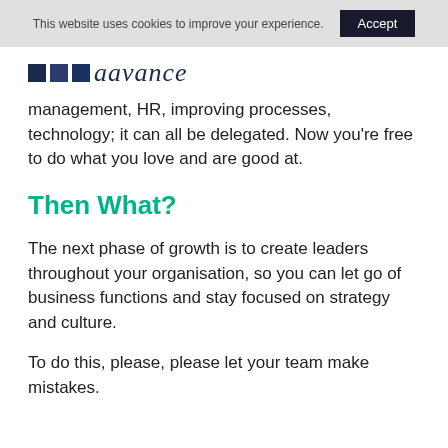This website uses cookies to improve your experience. Accept
[Figure (logo): Aavance logo with three dark blue squares followed by italic script text 'aavance']
management, HR, improving processes, technology; it can all be delegated. Now you're free to do what you love and are good at.
Then What?
The next phase of growth is to create leaders throughout your organisation, so you can let go of business functions and stay focused on strategy and culture.
To do this, please, please let your team make mistakes.